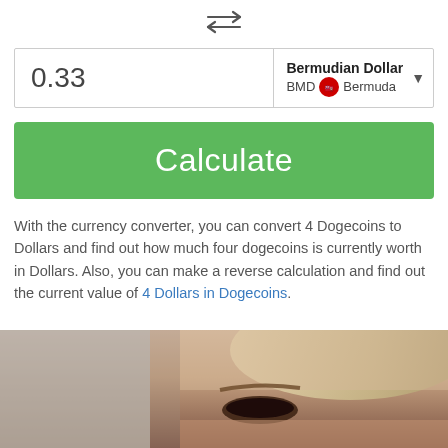[Figure (other): Two horizontal arrows pointing in opposite directions (swap/exchange icon)]
0.33
Bermudian Dollar BMD Bermuda
Calculate
With the currency converter, you can convert 4 Dogecoins to Dollars and find out how much four dogecoins is currently worth in Dollars. Also, you can make a reverse calculation and find out the current value of 4 Dollars in Dogecoins.
[Figure (photo): Close-up photo of a person's face, cropped to show eyes and forehead area with blonde hair]